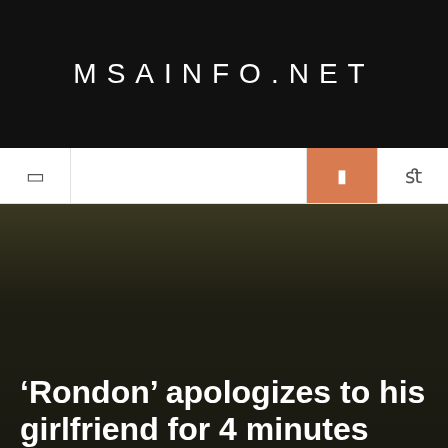MSAINFO.NET
[Figure (screenshot): Navigation bar with icons including hamburger menu, highlighted orange icon, and search icon]
[Figure (photo): Dark background hero image with dark olive/khaki tones]
‘Rondon’ apologizes to his girlfriend for 4 minutes